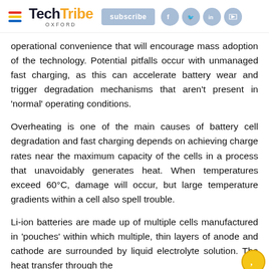TechTribe OXFORD — subscribe
operational convenience that will encourage mass adoption of the technology. Potential pitfalls occur with unmanaged fast charging, as this can accelerate battery wear and trigger degradation mechanisms that aren't present in 'normal' operating conditions.
Overheating is one of the main causes of battery cell degradation and fast charging depends on achieving charge rates near the maximum capacity of the cells in a process that unavoidably generates heat. When temperatures exceed 60°C, damage will occur, but large temperature gradients within a cell also spell trouble.
Li-ion batteries are made up of multiple cells manufactured in 'pouches' within which multiple, thin layers of anode and cathode are surrounded by liquid electrolyte solution. The heat transfer through the